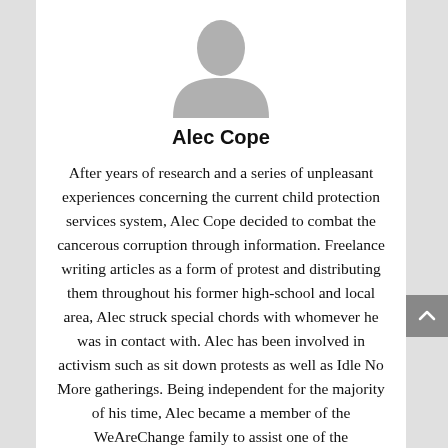[Figure (illustration): Generic grey placeholder avatar/profile silhouette icon]
Alec Cope
After years of research and a series of unpleasant experiences concerning the current child protection services system, Alec Cope decided to combat the cancerous corruption through information. Freelance writing articles as a form of protest and distributing them throughout his former high-school and local area, Alec struck special chords with whomever he was in contact with. Alec has been involved in activism such as sit down protests as well as Idle No More gatherings. Being independent for the majority of his time, Alec became a member of the WeAreChange family to assist one of the organizations that inspired him to become active in the first place. With a larger platform and positive support Alec has committed the majority of his time to research, writing, and maintaining social